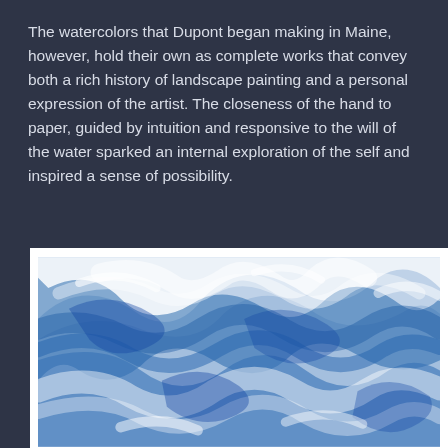The watercolors that Dupont began making in Maine, however, hold their own as complete works that convey both a rich history of landscape painting and a personal expression of the artist. The closeness of the hand to paper, guided by intuition and responsive to the will of the water sparked an internal exploration of the self and inspired a sense of possibility.
[Figure (photo): A watercolor painting with swirling blue and white patterns resembling water, clouds, or abstract landscape. The painting is shown partially, with a white border/frame visible. The blue tones are rich and varied against white.]